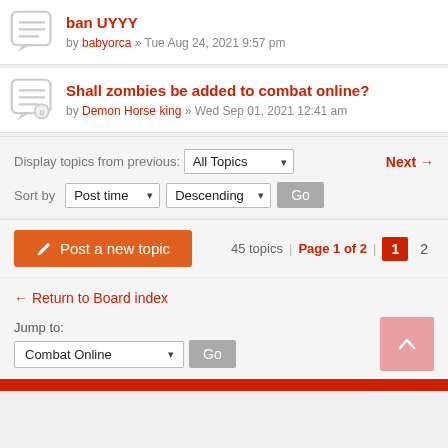ban UYYY by babyorca » Tue Aug 24, 2021 9:57 pm
Shall zombies be added to combat online? by Demon Horse king » Wed Sep 01, 2021 12:41 am
Display topics from previous: All Topics ▼   Next →
Sort by Post time ▼  Descending ▼  Go
✏ Post a new topic   45 topics | Page 1 of 2 | 1  2
← Return to Board index
Jump to: Combat Online ▼  Go